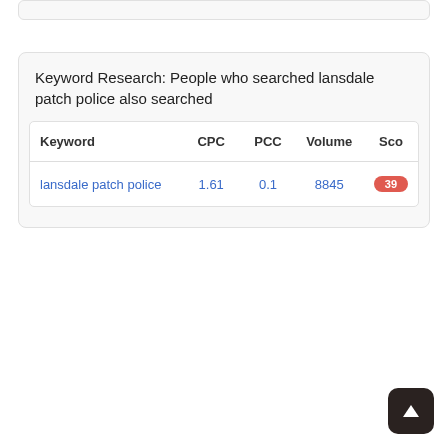Keyword Research: People who searched lansdale patch police also searched
| Keyword | CPC | PCC | Volume | Score |
| --- | --- | --- | --- | --- |
| lansdale patch police | 1.61 | 0.1 | 8845 | 39 |